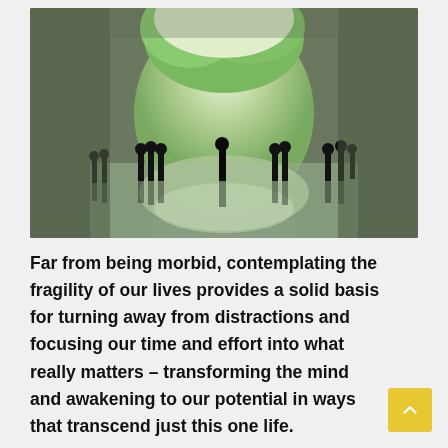[Figure (photo): Artistic photograph of people silhouetted inside a large circular tunnel opening, with reflections on a water surface below and green vegetation visible through the circular aperture in the background.]
Far from being morbid, contemplating the fragility of our lives provides a solid basis for turning away from distractions and focusing our time and effort into what really matters – transforming the mind and awakening to our potential in ways that transcend just this one life.